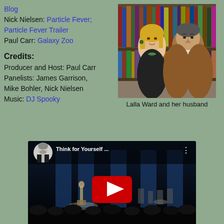Blog
Nick Nielsen: Particle Fever; Particle Fever Trailer
Paul Carr: Galaxy Zoo
Credits:
Producer and Host: Paul Carr
Panelists: James Garrison, Mike Bohler, Nick Nielsen
Music: DJ Spooky
[Figure (photo): Photo of Lalla Ward and her husband standing in front of bookshelves]
Lalla Ward and her husband
[Figure (screenshot): YouTube video embed showing 'Think for Yourself ...' with a play button, thumbnail of a stage performance with a performer at a podium and audience, YouTube channel avatar of a bald man in a suit]